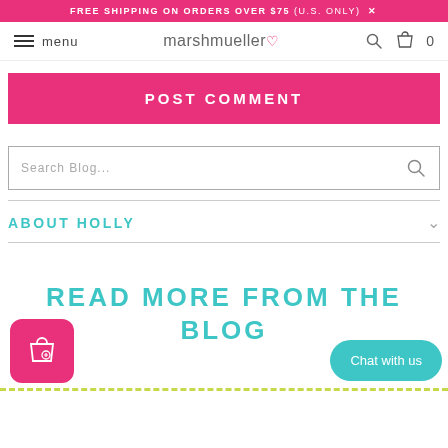FREE SHIPPING ON ORDERS OVER $75 (U.S. ONLY) X
menu marshmueller ♡ 🔍 🛍 0
POST COMMENT
Search Blog...
ABOUT HOLLY
READ MORE FROM THE BLOG